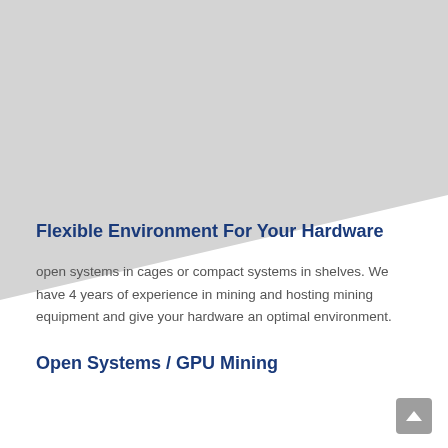[Figure (illustration): Light grey diagonal background shape occupying the top portion of the page, with a diagonal cut from upper-left to lower-right creating a triangular grey area.]
Flexible Environment For Your Hardware
open systems in cages or compact systems in shelves. We have 4 years of experience in mining and hosting mining equipment and give your hardware an optimal environment.
Open Systems / GPU Mining